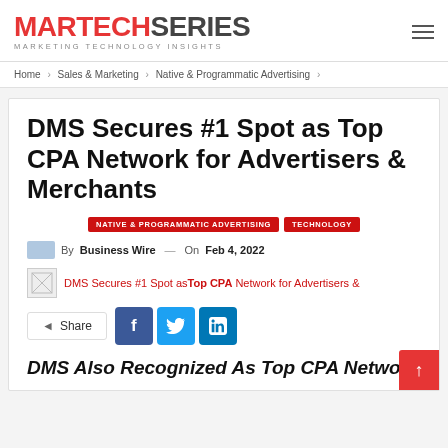MARTECHSERIES — MARKETING TECHNOLOGY INSIGHTS
Home > Sales & Marketing > Native & Programmatic Advertising >
DMS Secures #1 Spot as Top CPA Network for Advertisers & Merchants
NATIVE & PROGRAMMATIC ADVERTISING   TECHNOLOGY
By Business Wire — On Feb 4, 2022
DMS Secures #1 Spot as Top CPA Network for Advertisers &
Share
DMS Also Recognized As Top CPA Network